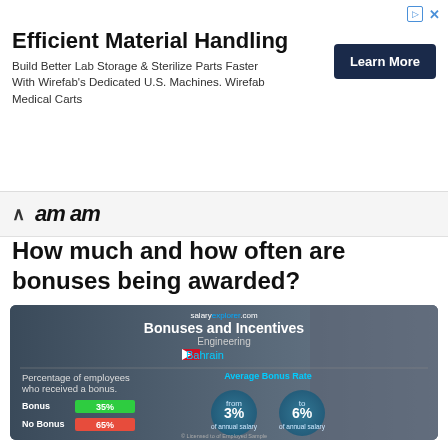[Figure (infographic): Ad banner for Efficient Material Handling - Wirefab]
am am (navigation brand)
How much and how often are bonuses being awarded?
[Figure (infographic): Bonuses and Incentives infographic for Engineering in Bahrain. salary explorer .com. Percentage of employees who received a bonus: Bonus 35% (green), No Bonus 65% (red). Average Bonus Rate from 3% to 6% of annual salary.]